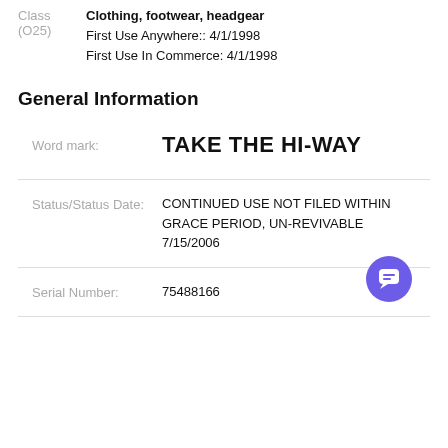Class (O25) Clothing, footwear, headgear First Use Anywhere:: 4/1/1998 First Use In Commerce: 4/1/1998
General Information
Word mark: TAKE THE HI-WAY
Status/Status Date: CONTINUED USE NOT FILED WITHIN GRACE PERIOD, UN-REVIVABLE 7/15/2006
Serial Number: 75488166